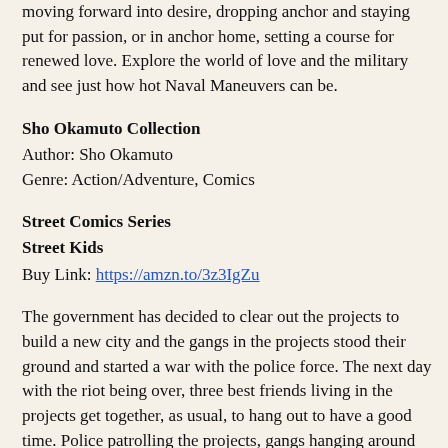moving forward into desire, dropping anchor and staying put for passion, or in anchor home, setting a course for renewed love. Explore the world of love and the military and see just how hot Naval Maneuvers can be.
Sho Okamuto Collection
Author: Sho Okamuto
Genre: Action/Adventure, Comics
Street Comics Series
Street Kids
Buy Link: https://amzn.to/3z3IgZu
The government has decided to clear out the projects to build a new city and the gangs in the projects stood their ground and started a war with the police force. The next day with the riot being over, three best friends living in the projects get together, as usual, to hang out to have a good time. Police patrolling the projects, gangs hanging around the streets, the three street kids will encounter events during their day, which they did not expect to happen. Join the wild ride and join a day in the life of the three street kids journey, to see the crazy events unfold and will they